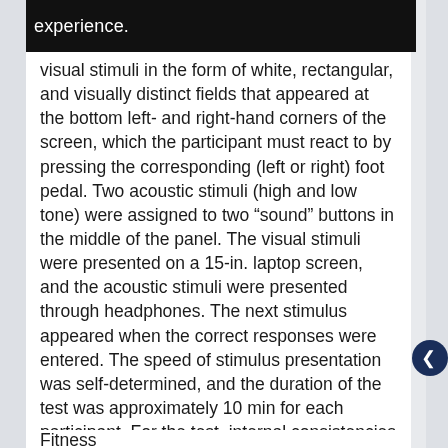experience.
visual stimuli in the form of white, rectangular, and visually distinct fields that appeared at the bottom left- and right-hand corners of the screen, which the participant must react to by pressing the corresponding (left or right) foot pedal. Two acoustic stimuli (high and low tone) were assigned to two “sound” buttons in the middle of the panel. The visual stimuli were presented on a 15-in. laptop screen, and the acoustic stimuli were presented through headphones. The next stimulus appeared when the correct responses were entered. The speed of stimulus presentation was self-determined, and the duration of the test was approximately 10 min for each participant. For the test, internal consistencies for the response accuracy rate and correct, on-time responses were between r = .98 and r = .99.
Fitness